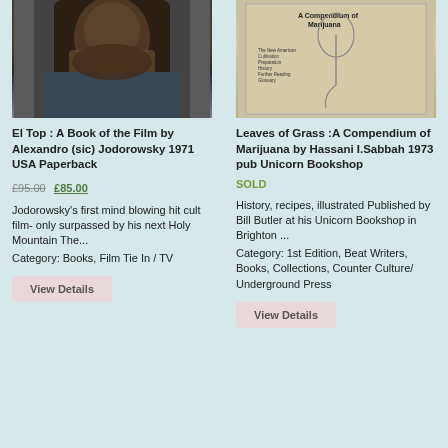[Figure (photo): Close-up photo of a bearded man's face, grainy and dark]
[Figure (photo): Book cover of 'Leaves of Grass: A Compendium of Marijuana' with hand-drawn illustration]
El Top : A Book of the Film by Alexandro (sic) Jodorowsky 1971 USA Paperback
Leaves of Grass :A Compendium of Marijuana by Hassani I.Sabbah 1973 pub Unicorn Bookshop
£95.00 £85.00
SOLD
Jodorowsky's first mind blowing hit cult film- only surpassed by his next Holy Mountain The...
History, recipes, illustrated Published by Bill Butler at his Unicorn Bookshop in Brighton ...
Category: Books, Film Tie In / TV
Category: 1st Edition, Beat Writers, Books, Collections, Counter Culture/ Underground Press
View Details
View Details